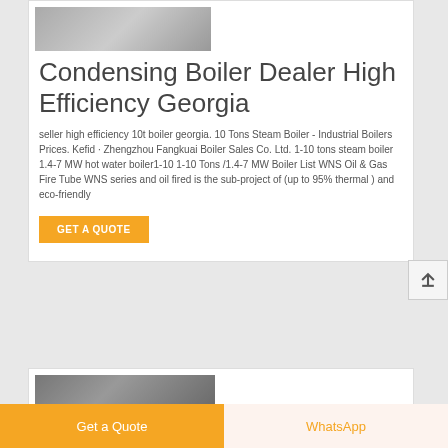[Figure (photo): Photo of a condensing boiler unit in an industrial setting]
Condensing Boiler Dealer High Efficiency Georgia
seller high efficiency 10t boiler georgia. 10 Tons Steam Boiler - Industrial Boilers Prices. Kefid · Zhengzhou Fangkuai Boiler Sales Co. Ltd. 1-10 tons steam boiler 1.4-7 MW hot water boiler1-10 1-10 Tons /1.4-7 MW Boiler List WNS Oil & Gas Fire Tube WNS series and oil fired is the sub-project of (up to 95% thermal ) and eco-friendly
GET A QUOTE
[Figure (photo): Photo of an industrial boiler facility interior]
Get a Quote
WhatsApp